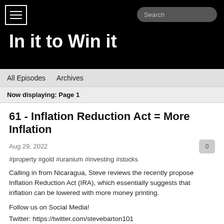In it to Win it
All Episodes  Archives
Now displaying: Page 1
61 - Inflation Reduction Act = More Inflation
Aug 29, 2022
#property #gold #uranium #investing #stocks
Calling in from Nicaragua, Steve reviews the recently propose Inflation Reduction Act (IRA), which essentially suggests that inflation can be lowered with more money printing.
Follow us on Social Media!
Twitter: https://twitter.com/stevebarton101